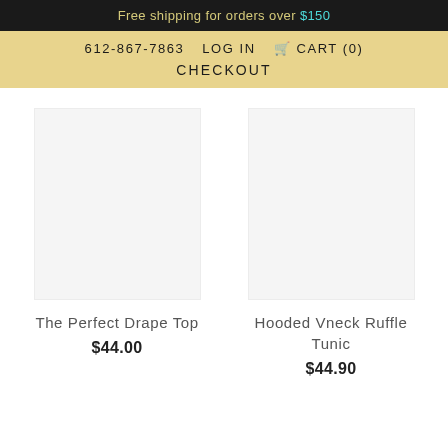Free shipping for orders over $150
612-867-7863  LOG IN  CART (0)  CHECKOUT
The Perfect Drape Top
$44.00
Hooded Vneck Ruffle Tunic
$44.90